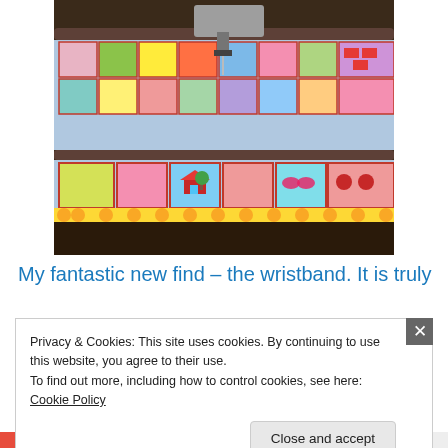[Figure (photo): A colorful patchwork quilt loaded on a long-arm quilting machine. The quilt features bright multicolored fabric squares with patterns including houses, trees, flowers, and various prints. The machine's metal frame and needle mechanism are visible at the top.]
My fantastic new find – the wristband.  It is truly
Privacy & Cookies: This site uses cookies. By continuing to use this website, you agree to their use.
To find out more, including how to control cookies, see here: Cookie Policy
Close and accept